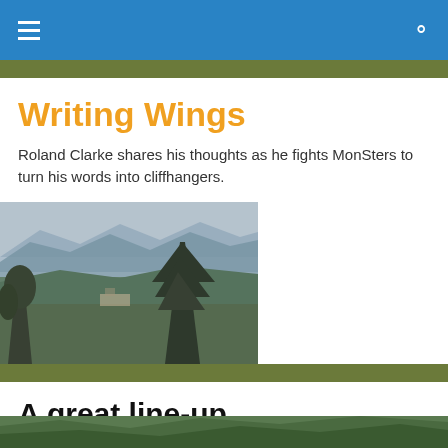Writing Wings — navigation header with hamburger menu and search icon
Writing Wings
Roland Clarke shares his thoughts as he fights MonSters to turn his words into cliffhangers.
[Figure (photo): Landscape photograph showing rolling hills with trees in the foreground, a village or estate visible in the middle distance, and hazy mountains in the background under a grey sky.]
A great line-up
[Figure (photo): Partial landscape photograph visible at the bottom of the page, cropped.]